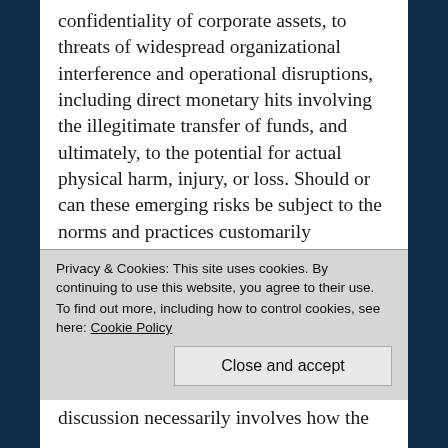confidentiality of corporate assets, to threats of widespread organizational interference and operational disruptions, including direct monetary hits involving the illegitimate transfer of funds, and ultimately, to the potential for actual physical harm, injury, or loss. Should or can these emerging risks be subject to the norms and practices customarily employed to address concerns of a brick-and-mortar world? Has the landscape changed so profoundly that entirely new approaches are required? In the discussion to follow, we seek to put some context around
Privacy & Cookies: This site uses cookies. By continuing to use this website, you agree to their use. To find out more, including how to control cookies, see here: Cookie Policy
Close and accept
discussion necessarily involves how the